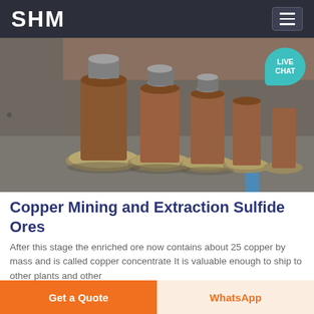SHM
[Figure (photo): Industrial copper mining equipment — a row of copper-colored cylindrical crusher/mill shafts with large circular metal base flanges, arranged on a factory floor.]
Copper Mining and Extraction Sulfide Ores
After this stage the enriched ore now contains about 25 copper by mass and is called copper concentrate It is valuable enough to ship to other plants and other
Get a Quote | WhatsApp